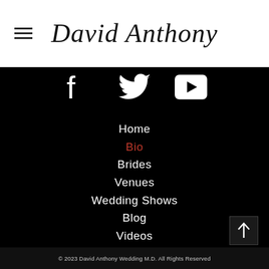David Anthony
[Figure (other): Social media icons: Facebook, Twitter, YouTube on black background]
Home
Bio
Brides
Venues
Wedding Shows
Blog
Videos
Contact
© 2023 David Anthony Wedding M.D. All Rights Reserved